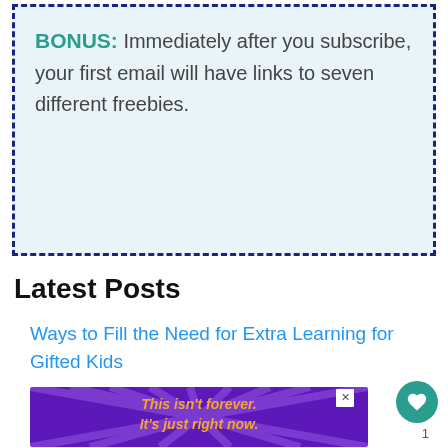BONUS: Immediately after you subscribe, your first email will have links to seven different freebies.
Latest Posts
Ways to Fill the Need for Extra Learning for Gifted Kids
Habit Training in the Preschool Years
Mr. D Math's Self-Paced Classes | iHN Featured Favorite
[Figure (other): Purple advertisement banner with orange italic text reading 'This isn't forever. It's just right now.' with a close button.]